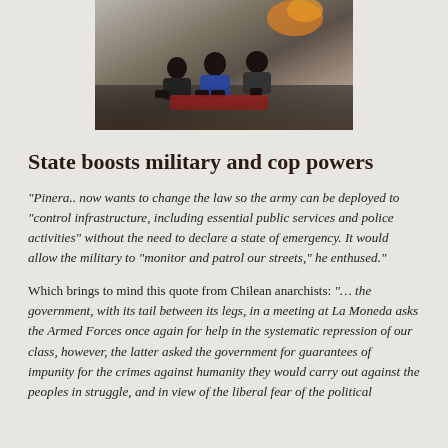[Figure (photo): Photograph of protesters sitting together, wearing masks, in what appears to be a street protest scene with fire or smoke visible in the background.]
State boosts military and cop powers
“Pinera.. now wants to change the law so the army can be deployed to “control infrastructure, including essential public services and police activities” without the need to declare a state of emergency. It would allow the military to “monitor and patrol our streets,” he enthused.”
Which brings to mind this quote from Chilean anarchists: “… the government, with its tail between its legs, in a meeting at La Moneda asks the Armed Forces once again for help in the systematic repression of our class, however, the latter asked the government for guarantees of impunity for the crimes against humanity they would carry out against the peoples in struggle, and in view of the liberal fear of the political